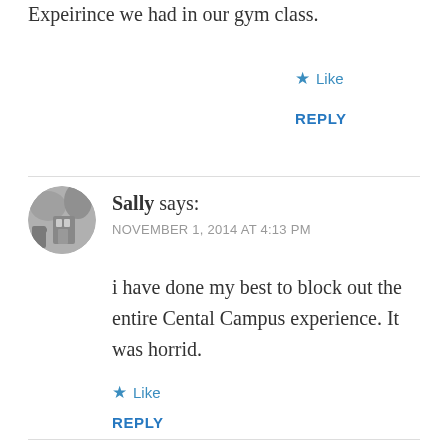Expeirince we had in our gym class.
★ Like
REPLY
Sally says: NOVEMBER 1, 2014 AT 4:13 PM
i have done my best to block out the entire Cental Campus experience. It was horrid.
★ Like
REPLY